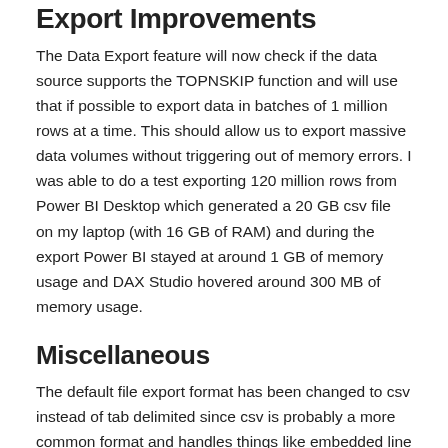Export Improvements
The Data Export feature will now check if the data source supports the TOPNSKIP function and will use that if possible to export data in batches of 1 million rows at a time. This should allow us to export massive data volumes without triggering out of memory errors. I was able to do a test exporting 120 million rows from Power BI Desktop which generated a 20 GB csv file on my laptop (with 16 GB of RAM) and during the export Power BI stayed at around 1 GB of memory usage and DAX Studio hovered around 300 MB of memory usage.
Miscellaneous
The default file export format has been changed to csv instead of tab delimited since csv is probably a more common format and handles things like embedded line